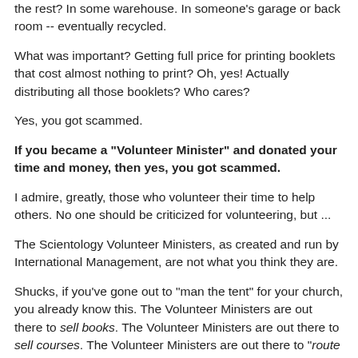the rest? In some warehouse. In someone's garage or back room -- eventually recycled.
What was important? Getting full price for printing booklets that cost almost nothing to print? Oh, yes! Actually distributing all those booklets? Who cares?
Yes, you got scammed.
If you became a "Volunteer Minister" and donated your time and money, then yes, you got scammed.
I admire, greatly, those who volunteer their time to help others. No one should be criticized for volunteering, but ...
The Scientology Volunteer Ministers, as created and run by International Management, are not what you think they are.
Shucks, if you've gone out to "man the tent" for your church, you already know this. The Volunteer Ministers are out there to sell books. The Volunteer Ministers are out there to sell courses. The Volunteer Ministers are out there to "route